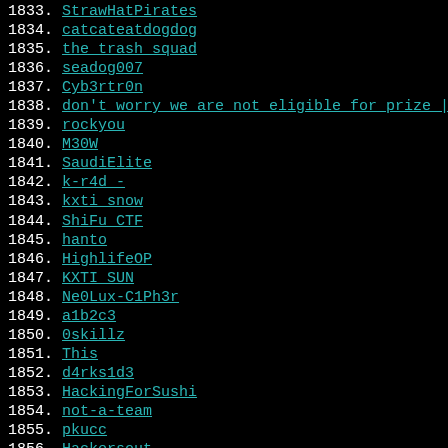1833. StrawHatPirates
1834. catcateatdogdog
1835. the trash squad
1836. seadog007
1837. Cyb3rtr0n
1838. don't worry we are not eligible for prize | Tank Man
1839. rockyou
1840. M30W
1841. SaudiElite
1842. k-r4d_-
1843. kxti_snow
1844. ShiFu_CTF
1845. hanto
1846. HighlifeOP
1847. KXTI_SUN
1848. Ne0Lux-C1Ph3r
1849. a1b2c3
1850. 0skillz
1851. This
1852. d4rks1d3
1853. HackingForSushi
1854. not-a-team
1855. pkucc
1856. Hackersout
1857. CVE-me